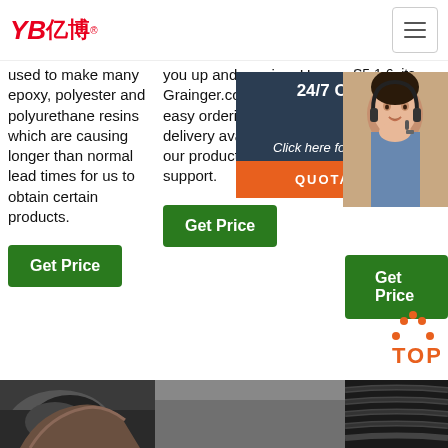[Figure (logo): YB亿博 logo in red]
used to make many epoxy, polyester and polyurethane resins which are causing longer than normal lead times for us to obtain certain products.
you up and running. Use Grainger.com for fast and easy ordering with next-day delivery available. Rely on our product experts for 24/7 support.
S5.1.6, its service bra cap the mul that less atta mile dist not com
[Figure (photo): Customer service representative with headset, 24/7 Online chat widget overlay with QUOTATION button]
[Figure (photo): Bottom left product photo - hand holding dark material]
[Figure (photo): Bottom right product photo - dark ribbed material]